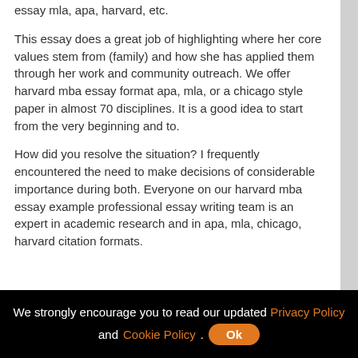essay mla, apa, harvard, etc.
This essay does a great job of highlighting where her core values stem from (family) and how she has applied them through her work and community outreach. We offer harvard mba essay format apa, mla, or a chicago style paper in almost 70 disciplines. It is a good idea to start from the very beginning and to.
How did you resolve the situation? I frequently encountered the need to make decisions of considerable importance during both. Everyone on our harvard mba essay example professional essay writing team is an expert in academic research and in apa, mla, chicago, harvard citation formats.
We strongly encourage you to read our updated Privacy Policy and Cookie Policy. Ok